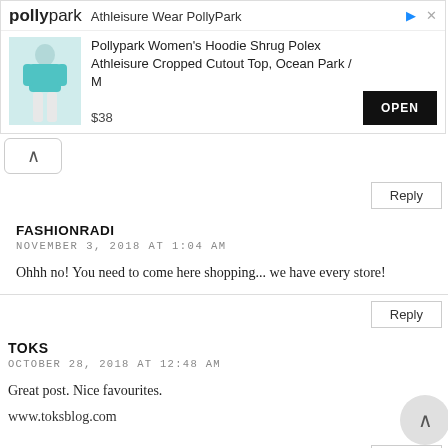[Figure (screenshot): Advertisement banner for Pollypark Athleisure Wear. Shows logo 'polly park', title 'Athleisure Wear PollyPark', product image of a woman in teal cropped jacket and white skirt, product name 'Pollypark Women's Hoodie Shrug Polex Athleisure Cropped Cutout Top, Ocean Park / M', price '$38', and a black OPEN button.]
Pollypark Women's Hoodie Shrug Polex Athleisure Cropped Cutout Top, Ocean Park / M
$38
OPEN
Reply
FASHIONRADI
NOVEMBER 3, 2018 AT 1:04 AM
Ohhh no! You need to come here shopping... we have every store!
Reply
TOKS
OCTOBER 28, 2018 AT 12:48 AM
Great post. Nice favourites.
www.toksblog.com
Reply